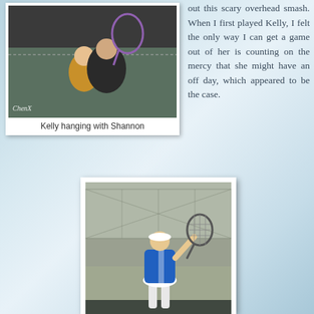[Figure (photo): Photo of Kelly hanging with Shannon, holding a tennis racket. Watermark ChenX visible at bottom left.]
Kelly hanging with Shannon
out this scary overhead smash. When I first played Kelly, I felt the only way I can get a game out of her is counting on the mercy that she might have an off day, which appeared to be the case.
[Figure (photo): Photo of a female tennis player in a blue top and white skirt, mid-swing with a tennis racket on a court.]